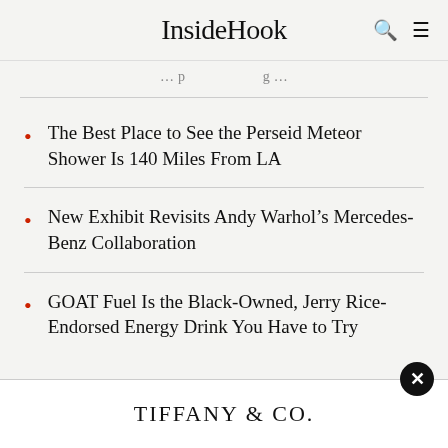InsideHook
…partial heading text…
The Best Place to See the Perseid Meteor Shower Is 140 Miles From LA
New Exhibit Revisits Andy Warhol's Mercedes-Benz Collaboration
GOAT Fuel Is the Black-Owned, Jerry Rice-Endorsed Energy Drink You Have to Try
[Figure (logo): Tiffany & Co. advertisement banner at bottom of page]